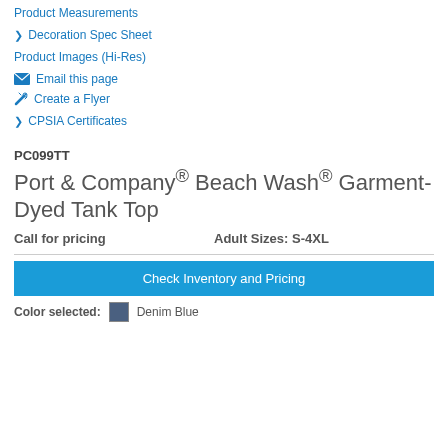Product Measurements
Decoration Spec Sheet
Product Images (Hi-Res)
Email this page
Create a Flyer
CPSIA Certificates
PC099TT
Port & Company® Beach Wash® Garment-Dyed Tank Top
Call for pricing    Adult Sizes: S-4XL
Check Inventory and Pricing
Color selected:  Denim Blue